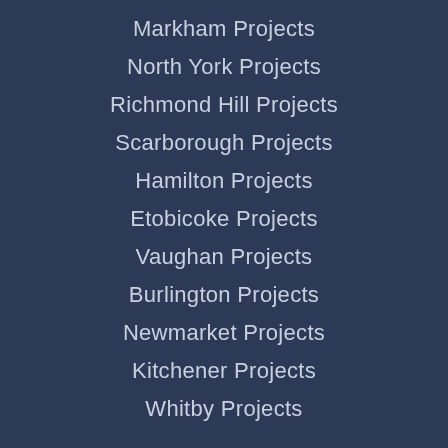Markham Projects
North York Projects
Richmond Hill Projects
Scarborough Projects
Hamilton Projects
Etobicoke Projects
Vaughan Projects
Burlington Projects
Newmarket Projects
Kitchener Projects
Whitby Projects